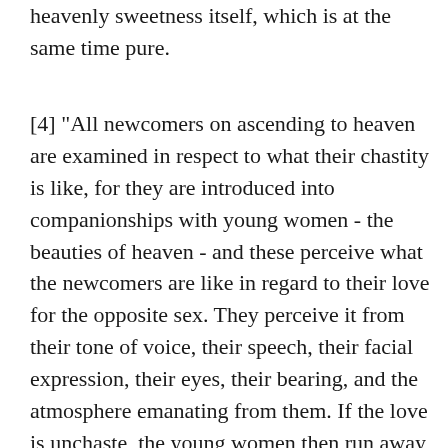heavenly sweetness itself, which is at the same time pure.
[4] "All newcomers on ascending to heaven are examined in respect to what their chastity is like, for they are introduced into companionships with young women - the beauties of heaven - and these perceive what the newcomers are like in regard to their love for the opposite sex. They perceive it from their tone of voice, their speech, their facial expression, their eyes, their bearing, and the atmosphere emanating from them. If the love is unchaste, the young women then run away and report to their friends that they have seen satyrs or lechers. And what is more, the newcomers undergo a change, and to the eyes of the angels